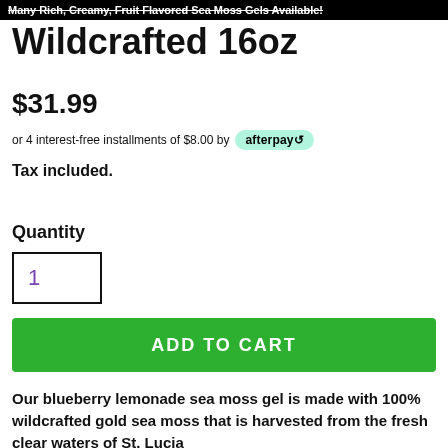Many Rich, Creamy, Fruit Flavored Sea Moss Gels Available!
Wildcrafted 16oz
$31.99
or 4 interest-free installments of $8.00 by afterpay
Tax included.
Quantity
1
ADD TO CART
Our blueberry lemonade sea moss gel is made with 100% wildcrafted gold sea moss that is harvested from the fresh clear waters of St. Lucia